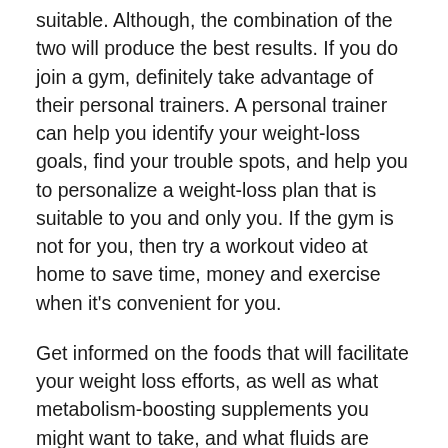suitable. Although, the combination of the two will produce the best results. If you do join a gym, definitely take advantage of their personal trainers. A personal trainer can help you identify your weight-loss goals, find your trouble spots, and help you to personalize a weight-loss plan that is suitable to you and only you. If the gym is not for you, then try a workout video at home to save time, money and exercise when it's convenient for you.
Get informed on the foods that will facilitate your weight loss efforts, as well as what metabolism-boosting supplements you might want to take, and what fluids are ideal for aiding in your weight-loss endeavor.
Make a Decision
With so many options from juicing to vegetarian eating plans, you need to find something that progresses slowly